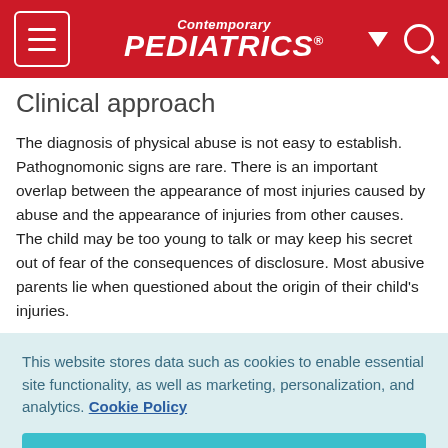Contemporary PEDIATRICS
Clinical approach
The diagnosis of physical abuse is not easy to establish. Pathognomonic signs are rare. There is an important overlap between the appearance of most injuries caused by abuse and the appearance of injuries from other causes. The child may be too young to talk or may keep his secret out of fear of the consequences of disclosure. Most abusive parents lie when questioned about the origin of their child's injuries.
This website stores data such as cookies to enable essential site functionality, as well as marketing, personalization, and analytics. Cookie Policy
Accept
Deny